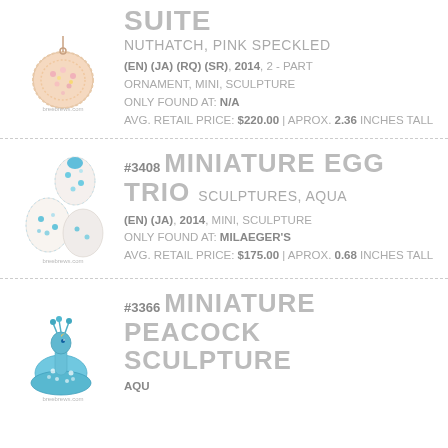[Figure (photo): Pink speckled nuthatch suite ornament, basket-shaped with pink and yellow beads, hanging from a chain]
SUITE NUTHATCH, PINK SPECKLED
(EN) (JA) (RQ) (SR), 2014, 2 - PART ORNAMENT, MINI, SCULPTURE
ONLY FOUND AT: N/A
AVG. RETAIL PRICE: $220.00 | APROX. 2.36 INCHES TALL
[Figure (photo): Three miniature egg sculptures with aqua blue floral beaded decorations]
#3408 MINIATURE EGG TRIO SCULPTURES, AQUA
(EN) (JA), 2014, MINI, SCULPTURE
ONLY FOUND AT: MILAEGER'S
AVG. RETAIL PRICE: $175.00 | APROX. 0.68 INCHES TALL
[Figure (photo): Miniature aqua peacock sculpture with beaded details]
#3366 MINIATURE PEACOCK SCULPTURE AQUA